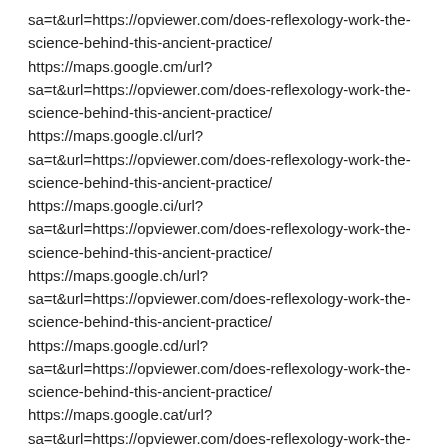sa=t&url=https://opviewer.com/does-reflexology-work-the-science-behind-this-ancient-practice/ https://maps.google.cm/url?sa=t&url=https://opviewer.com/does-reflexology-work-the-science-behind-this-ancient-practice/ https://maps.google.cl/url?sa=t&url=https://opviewer.com/does-reflexology-work-the-science-behind-this-ancient-practice/ https://maps.google.ci/url?sa=t&url=https://opviewer.com/does-reflexology-work-the-science-behind-this-ancient-practice/ https://maps.google.ch/url?sa=t&url=https://opviewer.com/does-reflexology-work-the-science-behind-this-ancient-practice/ https://maps.google.cd/url?sa=t&url=https://opviewer.com/does-reflexology-work-the-science-behind-this-ancient-practice/ https://maps.google.cat/url?sa=t&url=https://opviewer.com/does-reflexology-work-the-science-behind-this-ancient-practice/